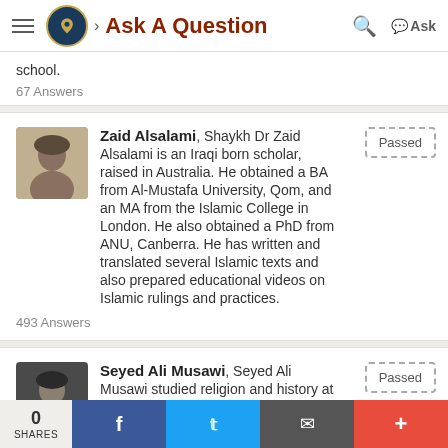Ask A Question
school.
67 Answers
Zaid Alsalami, Shaykh Dr Zaid Alsalami is an Iraqi born scholar, raised in Australia. He obtained a BA from Al-Mustafa University, Qom, and an MA from the Islamic College in London. He also obtained a PhD from ANU, Canberra. He has written and translated several Islamic texts and also prepared educational videos on Islamic rulings and practices.
493 Answers
Seyed Ali Musawi, Seyed Ali Musawi studied religion and history at the University of California, San Diego and subsequently he studied for more than 8 years at the Islamic Seminary in Qum, Iran,